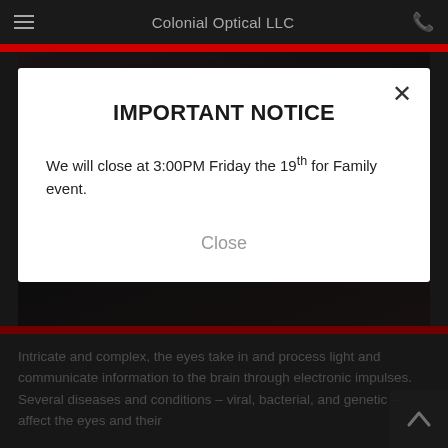Colonial Optical LLC
IMPORTANT NOTICE
We will close at 3:00PM Friday the 19th for Family event.
Close
Intricate and complex, the eyes take in and process light and communicate information to the brain through electronic impulses. Several diseases and conditions – viral, bacterial, and genetic – affect the eyes and their